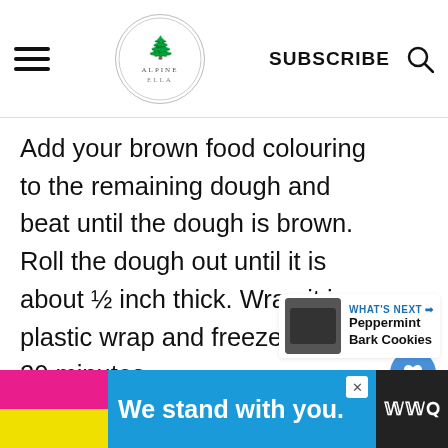Alpine Ella — SUBSCRIBE
Add your brown food colouring to the remaining dough and beat until the dough is brown. Roll the dough out until it is about ½ inch thick. Wrap it in plastic wrap and freeze for 15-20 minutes.
[Figure (infographic): Heart/like button (blue circle with heart icon), count of 20, and share button (grey circle with share icon) on the right side of the page]
[Figure (infographic): What's Next panel showing a thumbnail image of Peppermint Bark Cookies with label 'WHAT'S NEXT' and arrow]
[Figure (infographic): Advertisement banner reading 'We stand with you.' with pink, yellow, blue color strips and a media logo on dark background]